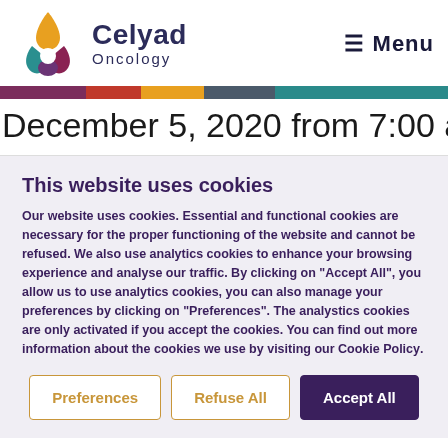Celyad Oncology  ≡ Menu
December 5, 2020 from 7:00 a.m. to 3:30 p.m.
This website uses cookies
Our website uses cookies. Essential and functional cookies are necessary for the proper functioning of the website and cannot be refused. We also use analytics cookies to enhance your browsing experience and analyse our traffic. By clicking on "Accept All", you allow us to use analytics cookies, you can also manage your preferences by clicking on "Preferences". The analystics cookies are only activated if you accept the cookies. You can find out more information about the cookies we use by visiting our Cookie Policy.
Preferences
Refuse All
Accept All